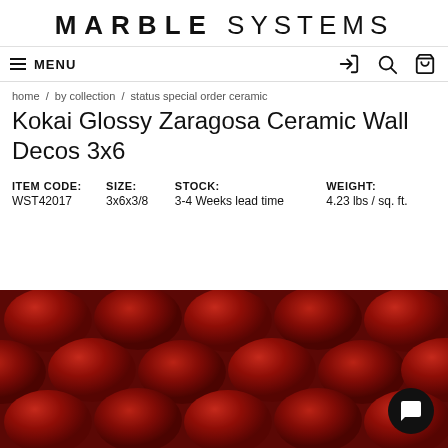MARBLE SYSTEMS
≡ MENU
home / by collection / status special order ceramic
Kokai Glossy Zaragosa Ceramic Wall Decos 3x6
| ITEM CODE: | SIZE: | STOCK: | WEIGHT: |
| --- | --- | --- | --- |
| WST42017 | 3x6x3/8 | 3-4 Weeks lead time | 4.23 lbs / sq. ft. |
[Figure (photo): Close-up photo of red glossy ceramic wall tiles with a rounded pebble/scale texture pattern, Kokai Glossy Zaragosa design]